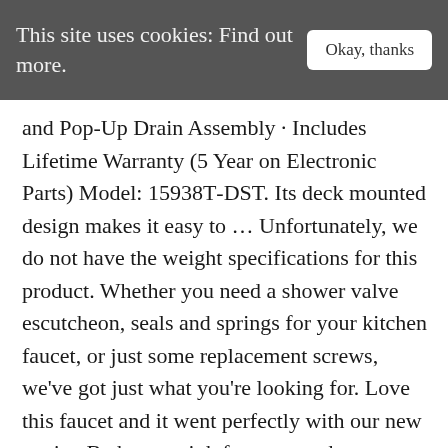This site uses cookies: Find out more.
and Pop-Up Drain Assembly - Includes Lifetime Warranty (5 Year on Electronic Parts) Model: 15938T-DST. Its deck mounted design makes it easy to ... Unfortunately, we do not have the weight specifications for this product. Whether you need a shower valve escutcheon, seals and springs for your kitchen faucet, or just some replacement screws, we've got just what you're looking for. Love this faucet and it went perfectly with our new vanity. Bathroom sink faucets are the most-used fixtures in any bathroom, so keep yours updated. The free-flowing lines of the Clearfield Mid-Arc Plumbing Fixtures are®...